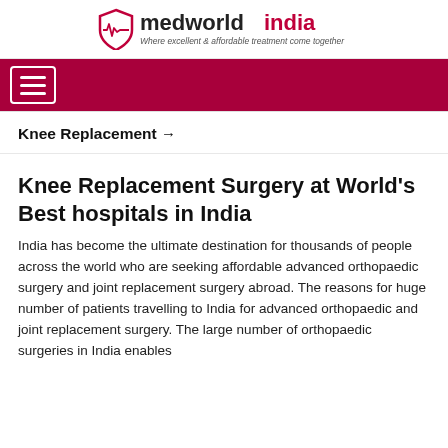medworldindia — Where excellent & affordable treatment come together
[Figure (logo): MedWorldIndia logo with heart-rate icon and text 'medworldindia — Where excellent & affordable treatment come together']
Knee Replacement →
Knee Replacement Surgery at World's Best hospitals in India
India has become the ultimate destination for thousands of people across the world who are seeking affordable advanced orthopaedic surgery and joint replacement surgery abroad. The reasons for huge number of patients travelling to India for advanced orthopaedic and joint replacement surgery. The large number of orthopaedic surgeries in India enables